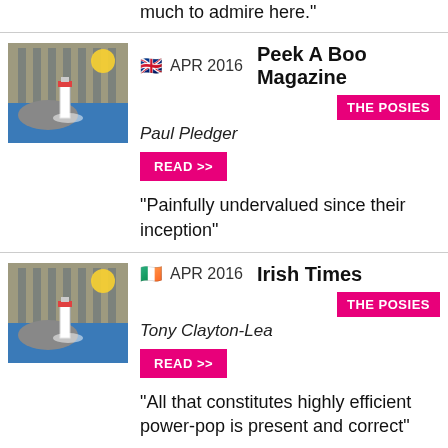much to admire here."
APR 2016  Peek A Boo Magazine — THE POSIES — Paul Pledger — READ >> — "Painfully undervalued since their inception"
APR 2016  Irish Times — THE POSIES — Tony Clayton-Lea — READ >> — "All that constitutes highly efficient power-pop is present and correct"
APR 2016  It's Only Rock And Roll — THE POSIES